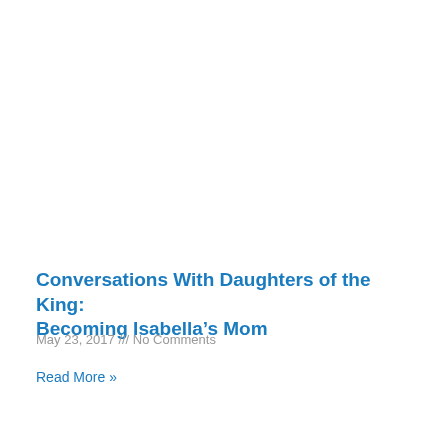Conversations With Daughters of the King: Becoming Isabella's Mom
May 23, 2017 /// No Comments
Read More »